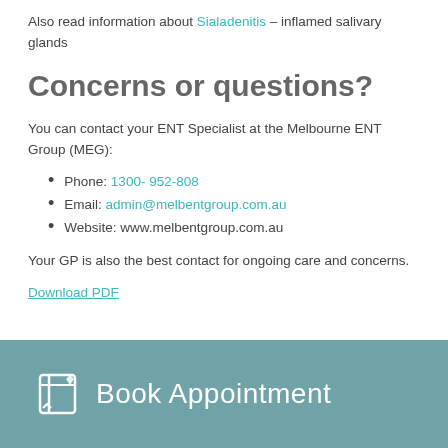Also read information about Sialadenitis – inflamed salivary glands
Concerns or questions?
You can contact your ENT Specialist at the Melbourne ENT Group (MEG):
Phone: 1300- 952-808
Email: admin@melbentgroup.com.au
Website: www.melbentgroup.com.au
Your GP is also the best contact for ongoing care and concerns.
Download PDF
[Figure (other): Teal footer bar with a book appointment icon and text 'Book Appointment']